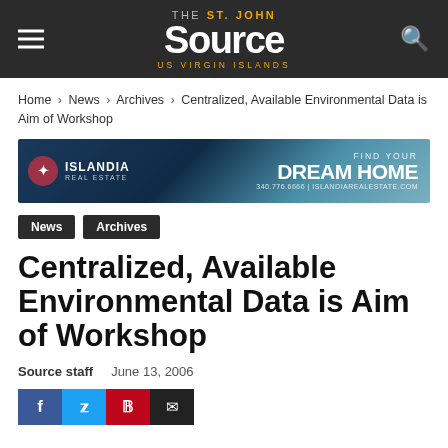THE St. John Source US VIRGIN ISLANDS
Home › News › Archives › Centralized, Available Environmental Data is Aim of Workshop
[Figure (photo): Islandia Real Estate advertisement banner with flowers and outdoor furniture, text: FIND YOUR DREAM HOME 340.776.6666 | ISLANDIAREALESTATE.COM]
News
Archives
Centralized, Available Environmental Data is Aim of Workshop
Source staff   June 13, 2006